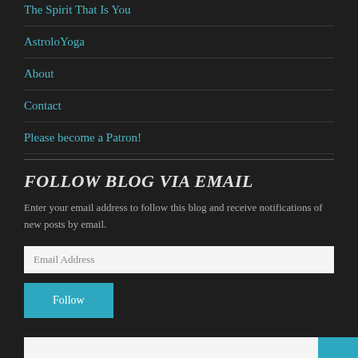The Spirit That Is You
AstroloYoga
About
Contact
Please become a Patron!
FOLLOW BLOG VIA EMAIL
Enter your email address to follow this blog and receive notifications of new posts by email.